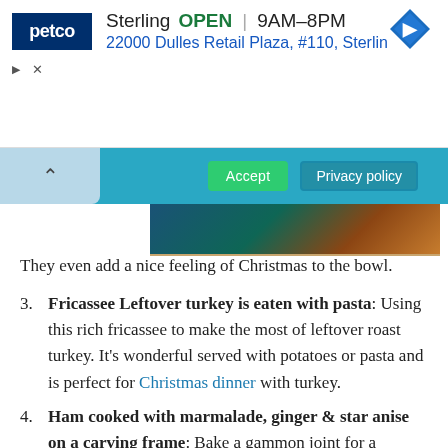[Figure (screenshot): Petco advertisement banner showing Sterling store: OPEN 9AM-8PM, 22000 Dulles Retail Plaza, #110, Sterlin. Navigation diamond icon on right. Small triangle and X ad controls on left.]
[Figure (screenshot): Cookie consent bar with teal/blue background, chevron up arrow on left, Accept button (green), Privacy policy button (outlined white) on right.]
[Figure (photo): Partial Christmas-themed image strip in dark tones.]
They even add a nice feeling of Christmas to the bowl.
3. Fricassee Leftover turkey is eaten with pasta: Using this rich fricassee to make the most of leftover roast turkey. It’s wonderful served with potatoes or pasta and is perfect for Christmas dinner with turkey.
4. Ham cooked with marmalade, ginger & star anise on a carving frame: Bake a gammon joint for a centerpiece main course with a marmalade, ginger, and star anise glaze. It’s perfect for Christmas or lunch on Sunday.
5. Spicy turkey noodles: On Boxing Day one can use the